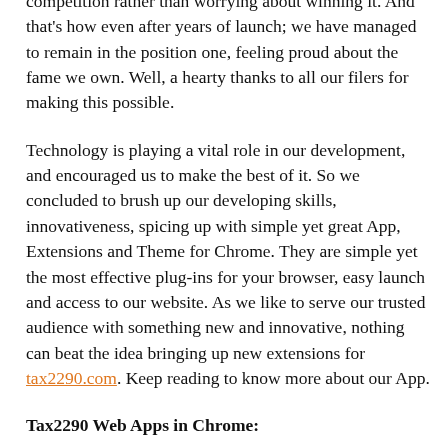surprises for you all. Though we are ringed with competitors, we believe in participating in the competition rather than worrying about winning it. And that's how even after years of launch; we have managed to remain in the position one, feeling proud about the fame we own. Well, a hearty thanks to all our filers for making this possible.
Technology is playing a vital role in our development, and encouraged us to make the best of it. So we concluded to brush up our developing skills, innovativeness, spicing up with simple yet great App, Extensions and Theme for Chrome. They are simple yet the most effective plug-ins for your browser, easy launch and access to our website. As we like to serve our trusted audience with something new and innovative, nothing can beat the idea bringing up new extensions for tax2290.com. Keep reading to know more about our App.
Tax2290 Web Apps in Chrome: